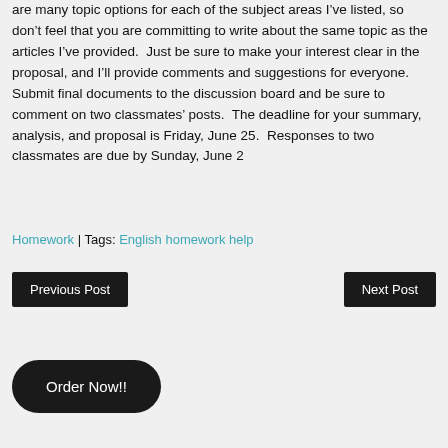are many topic options for each of the subject areas I've listed, so don't feel that you are committing to write about the same topic as the articles I've provided.  Just be sure to make your interest clear in the proposal, and I'll provide comments and suggestions for everyone. Submit final documents to the discussion board and be sure to comment on two classmates' posts.  The deadline for your summary, analysis, and proposal is Friday, June 25.  Responses to two classmates are due by Sunday, June 2
Homework | Tags: English homework help
Previous Post
Next Post
Order Now!!